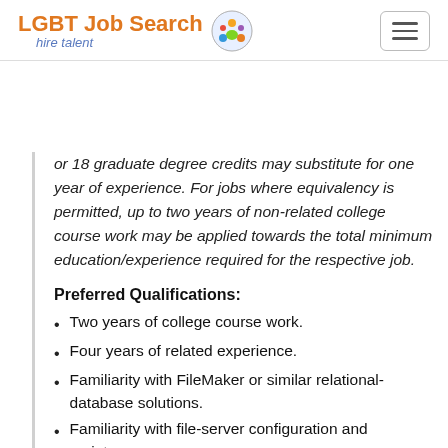LGBT Job Search hire talent
or 18 graduate degree credits may substitute for one year of experience. For jobs where equivalency is permitted, up to two years of non-related college course work may be applied towards the total minimum education/experience required for the respective job.
Preferred Qualifications:
Two years of college course work.
Four years of related experience.
Familiarity with FileMaker or similar relational-database solutions.
Familiarity with file-server configuration and maintenance.